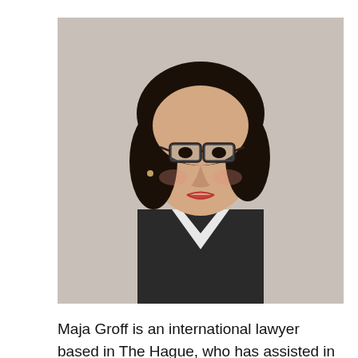[Figure (photo): Headshot of Maja Groff, a woman with curly dark hair wearing glasses and a dark blazer, against a light background.]
Maja Groff is an international lawyer based in The Hague, who has assisted in the development and servicing of multilateral treaties, also working at various international criminal tribunals and teaching regularly at the Hague Academy of International Law. She has worked on existing and potential global treaties addressing, inter alia, areas of child law, issues disproportionately affecting women, persons with disabilities, access to legal information and a range of other topics, as well as on the pioneering International Hague Network of Judges. She has